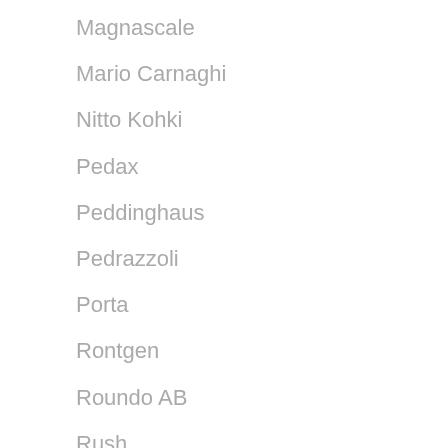Magnascale
Mario Carnaghi
Nitto Kohki
Pedax
Peddinghaus
Pedrazzoli
Porta
Rontgen
Roundo AB
Rush
Sangiacomo